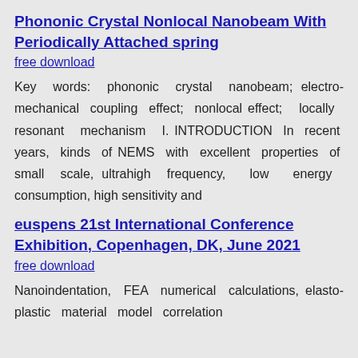Phononic Crystal Nonlocal Nanobeam With Periodically Attached spring
free download
Key words: phononic crystal nanobeam; electro-mechanical coupling effect; nonlocal effect; locally resonant mechanism I. INTRODUCTION In recent years, kinds of NEMS with excellent properties of small scale, ultrahigh frequency, low energy consumption, high sensitivity and
euspens 21st International Conference Exhibition, Copenhagen, DK, June 2021
free download
Nanoindentation, FEA numerical calculations, elasto-plastic material model correlation